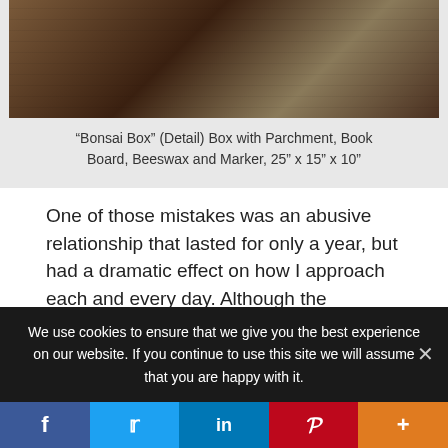[Figure (photo): Artwork photo showing 'Bonsai Box' detail, a box with parchment, book board, beeswax and marker]
“Bonsai Box” (Detail) Box with Parchment, Book Board, Beeswax and Marker, 25” x 15” x 10”
One of those mistakes was an abusive relationship that lasted for only a year, but had a dramatic effect on how I approach each and every day. Although the experience was traumatic, the wonderful people I’ve met and positive experiences I’ve had since would
We use cookies to ensure that we give you the best experience on our website. If you continue to use this site we will assume that you are happy with it.